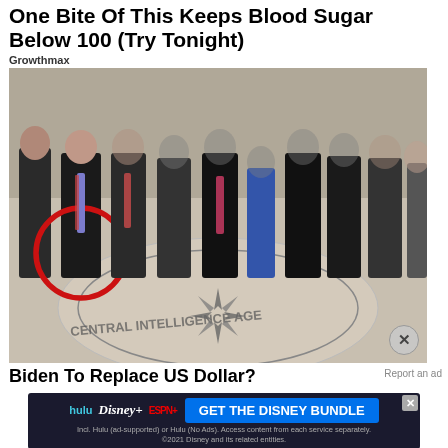One Bite Of This Keeps Blood Sugar Below 100 (Try Tonight)
Growthmax
[Figure (photo): Group photo of approximately 11 people standing in a line at CIA headquarters lobby, with the Central Intelligence Agency seal on the floor. One person on the left side is circled in red.]
Biden To Replace US Dollar?
Report an ad
[Figure (infographic): Disney Bundle advertisement banner featuring hulu, Disney+, and ESPN+ logos with blue CTA button saying GET THE DISNEY BUNDLE. Small print: Incl. Hulu (ad-supported) or Hulu (No Ads). Access content from each service separately. ©2021 Disney and its related entities.]